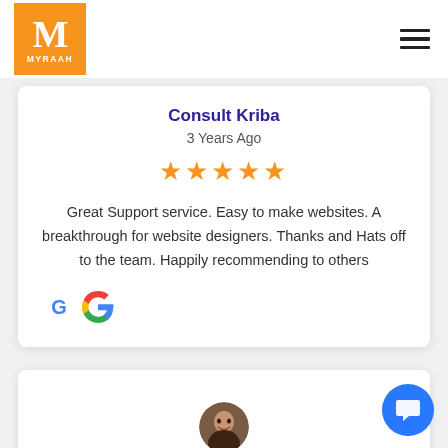[Figure (logo): Myraah logo: orange square with white M and MYRAAH text]
Consult Kriba
3 Years Ago
[Figure (other): 5 orange star rating]
Great Support service. Easy to make websites. A breakthrough for website designers. Thanks and Hats off to the team. Happily recommending to others
[Figure (logo): Google G logo]
[Figure (photo): Partial profile photo of a person, circular, at bottom of second review card]
[Figure (other): Blue circular chat/message button at bottom right]